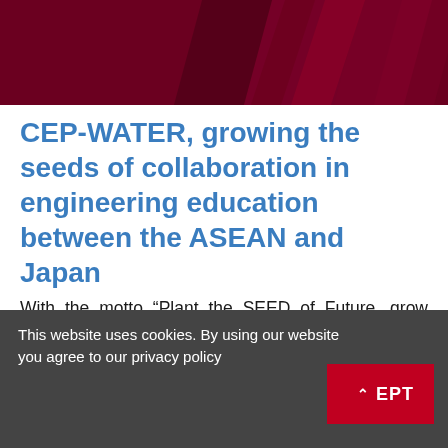[Figure (illustration): Dark crimson/maroon header banner with diagonal stripe patterns]
CEP-WATER, growing the seeds of collaboration in engineering education between the ASEAN and Japan
With the motto “Plant the SEED of Future, grow ASEAN-JAPAN Network for Sustainability,” the JICA Project for AUN/SEED-Net believes in planting the seeds of collaboration in
This website uses cookies. By using our website you agree to our privacy policy